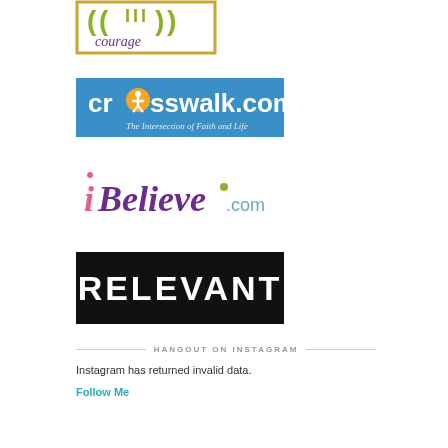[Figure (logo): Courage logo with stylized bracket design and purple text 'courage' inside a gold border frame]
[Figure (logo): Crosswalk.com logo - blue background with white text and orange person icon, tagline 'The Intersection of Faith and Life']
[Figure (logo): iBelieve.com logo in purple/pink cursive script with decorative dots]
[Figure (logo): RELEVANT logo - white bold uppercase text on black background]
HANGOUT ON INSTAGRAM
Instagram has returned invalid data.
Follow Me